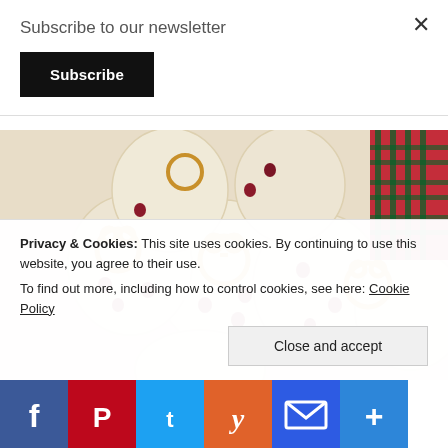Subscribe to our newsletter
Subscribe
[Figure (photo): Overhead view of snowman-shaped sugar cookies decorated with pretzel pieces and dried cranberries, with red plaid ribbon in the background.]
Privacy & Cookies: This site uses cookies. By continuing to use this website, you agree to their use.
To find out more, including how to control cookies, see here: Cookie Policy
Close and accept
[Figure (infographic): Social share bar with Facebook, Pinterest, Twitter, Yummly, Email, and More buttons.]